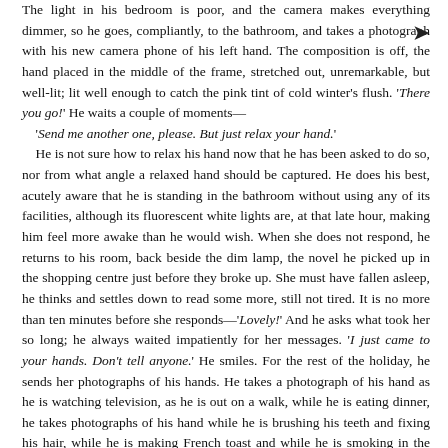The light in his bedroom is poor, and the camera makes everything dimmer, so he goes, compliantly, to the bathroom, and takes a photograph with his new camera phone of his left hand. The composition is off, the hand placed in the middle of the frame, stretched out, unremarkable, but well-lit; lit well enough to catch the pink tint of cold winter's flush. 'There you go!' He waits a couple of moments—
'Send me another one, please. But just relax your hand.'
He is not sure how to relax his hand now that he has been asked to do so, nor from what angle a relaxed hand should be captured. He does his best, acutely aware that he is standing in the bathroom without using any of its facilities, although its fluorescent white lights are, at that late hour, making him feel more awake than he would wish. When she does not respond, he returns to his room, back beside the dim lamp, the novel he picked up in the shopping centre just before they broke up. She must have fallen asleep, he thinks and settles down to read some more, still not tired. It is no more than ten minutes before she responds—'Lovely!' And he asks what took her so long; he always waited impatiently for her messages. 'I just came to your hands. Don't tell anyone.' He smiles. For the rest of the holiday, he sends her photographs of his hands. He takes a photograph of his hand as he is watching television, as he is out on a walk, while he is eating dinner, he takes photographs of his hand while he is brushing his teeth and fixing his hair, while he is making French toast and while he is smoking in the garden. She looks at the little photographs on her phone and, if she is alone, she acts upon them, otherwise she waits, because she is so terribly bored at her parents. By the time they return to university in the second week of